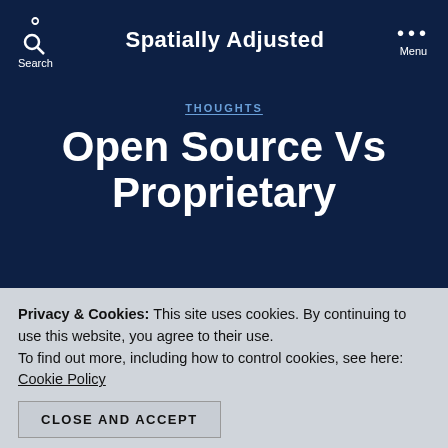Spatially Adjusted
THOUGHTS
Open Source Vs Proprietary
By James Fee  June 2, 2005
Privacy & Cookies: This site uses cookies. By continuing to use this website, you agree to their use. To find out more, including how to control cookies, see here: Cookie Policy
CLOSE AND ACCEPT
We've loaded up PostgreSQL and PostGIS up on our Linux server to start playing around with it and I'll post